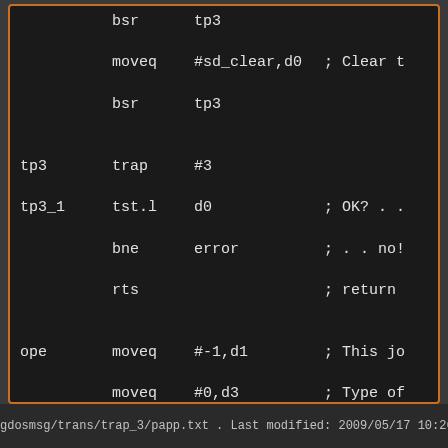[Figure (screenshot): Assembly language code listing in a terminal/editor window with dark background and orange border. Shows 68000 assembly instructions including bsr, moveq, trap, tst.l, bne, rts, lea, bra, dc.w, dc.b with labels tp3, tp3_1, ope, con.]
gdosmsg/trans/trap_3/papp.txt . Last modified: 2009/05/17 10:26 by